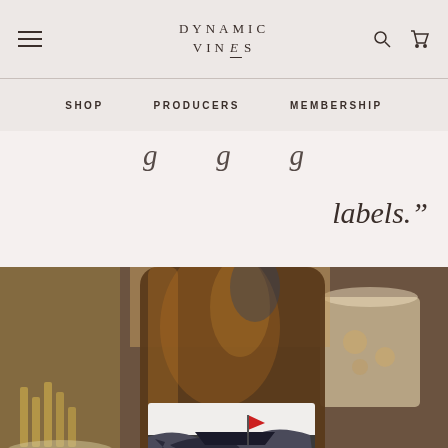DYNAMIC VINES
SHOP   PRODUCERS   MEMBERSHIP
labels.”
[Figure (photo): Close-up photo of a wine bottle with a white label depicting a whale and a red flag on a sailing vessel. Background shows blurred food items and tableware.]